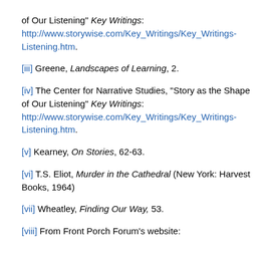of Our Listening" Key Writings: http://www.storywise.com/Key_Writings/Key_Writings-Listening.htm.
[iii] Greene, Landscapes of Learning, 2.
[iv] The Center for Narrative Studies, “Story as the Shape of Our Listening” Key Writings: http://www.storywise.com/Key_Writings/Key_Writings-Listening.htm.
[v] Kearney, On Stories, 62-63.
[vi] T.S. Eliot, Murder in the Cathedral (New York: Harvest Books, 1964)
[vii] Wheatley, Finding Our Way, 53.
[viii] From Front Porch Forum’s website: